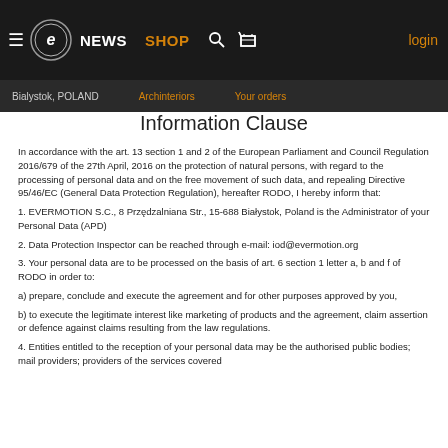NEWS | SHOP | login | Bialystok, POLAND | Archinteriors | Your orders
Information Clause
In accordance with the art. 13 section 1 and 2 of the European Parliament and Council Regulation 2016/679 of the 27th April, 2016 on the protection of natural persons, with regard to the processing of personal data and on the free movement of such data, and repealing Directive 95/46/EC (General Data Protection Regulation), hereafter RODO, I hereby inform that:
1. EVERMOTION S.C., 8 Przędzalniana Str., 15-688 Białystok, Poland is the Administrator of your Personal Data (APD)
2. Data Protection Inspector can be reached through e-mail: iod@evermotion.org
3. Your personal data are to be processed on the basis of art. 6 section 1 letter a, b and f of RODO in order to:
a) prepare, conclude and execute the agreement and for other purposes approved by you,
b) to execute the legitimate interest like marketing of products and the agreement, claim assertion or defence against claims resulting from the law regulations.
4. Entities entitled to the reception of your personal data may be the authorised public bodies; mail providers; providers of the services covered